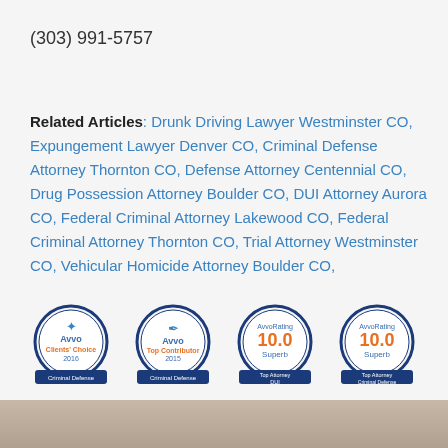(303) 991-5757
Related Articles: Drunk Driving Lawyer Westminster CO, Expungement Lawyer Denver CO, Criminal Defense Attorney Thornton CO, Defense Attorney Centennial CO, Drug Possession Attorney Boulder CO, DUI Attorney Aurora CO, Federal Criminal Attorney Lakewood CO, Federal Criminal Attorney Thornton CO, Trial Attorney Westminster CO, Vehicular Homicide Attorney Boulder CO,
[Figure (infographic): Four Avvo award badges in a row: Clients Choice 2018 Criminal Defense, Top Contributor 2015 Criminal Defense, Avvo Rating 10.0 Superb Top Attorney DUI, Avvo Rating 10.0 Superb Top Attorney Criminal Defense]
[Figure (photo): Partial photo strip at bottom of page]